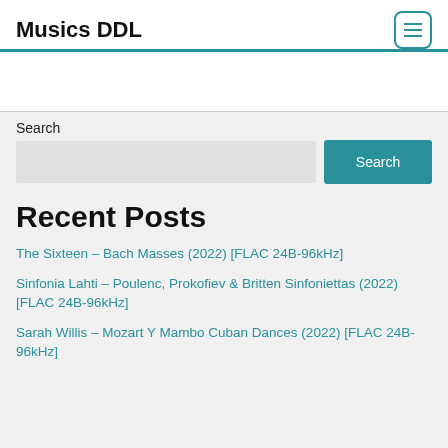Musics DDL
Search
Search
Recent Posts
The Sixteen – Bach Masses (2022) [FLAC 24B-96kHz]
Sinfonia Lahti – Poulenc, Prokofiev & Britten Sinfoniettas (2022) [FLAC 24B-96kHz]
Sarah Willis – Mozart Y Mambo Cuban Dances (2022) [FLAC 24B-96kHz]